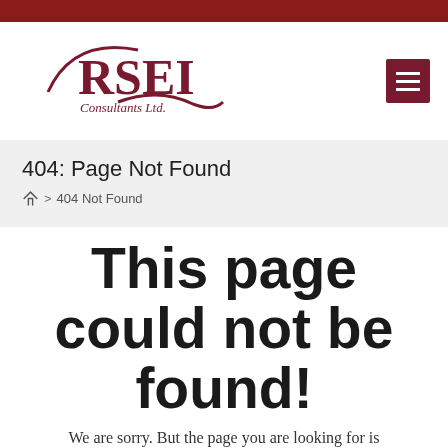[Figure (logo): RSEI Consultants Ltd. logo with stylized arc and wave design in dark red/maroon color]
404: Page Not Found
Home > 404 Not Found
This page could not be found!
We are sorry. But the page you are looking for is